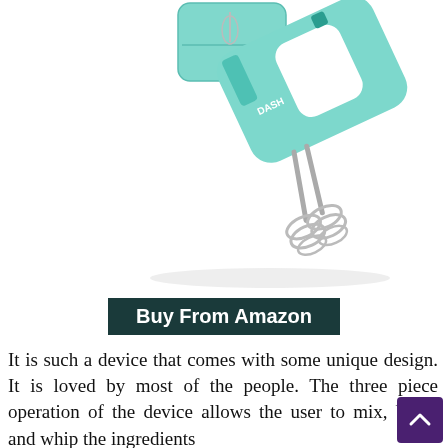[Figure (photo): A teal/mint colored hand mixer (Dash brand) shown from an angle, with stainless steel beater attachments inserted, and a small teal storage case shown in the upper-left corner. White background.]
Buy From Amazon
It is such a device that comes with some unique design. It is loved by most of the people. The three piece operation of the device allows the user to mix, blend and whip the ingredients